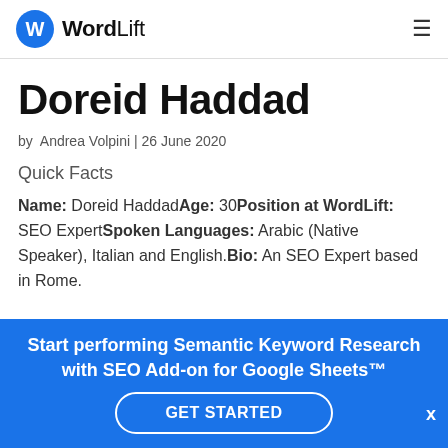WordLift
Doreid Haddad
by Andrea Volpini | 26 June 2020
Quick Facts
Name: Doreid HaddadAge: 30Position at WordLift: SEO ExpertSpoken Languages: Arabic (Native Speaker), Italian and English.Bio: An SEO Expert based in Rome.
Start performing Semantic Keyword Research with SEO Add-on for Google Sheets™
GET STARTED